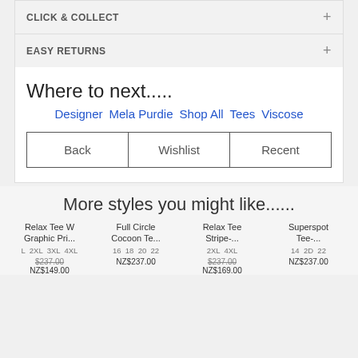CLICK & COLLECT +
EASY RETURNS +
Where to next.....
Designer  Mela Purdie  Shop All  Tees  Viscose
Back | Wishlist | Recent
More styles you might like......
Relax Tee W Graphic Pri...
L 2XL 3XL 4XL
$237.00
NZ$149.00
Full Circle Cocoon Te...
16 18 20 22
NZ$237.00
Relax Tee Stripe-...
2XL 4XL
$237.00
NZ$169.00
Superspot Tee-...
14 2D 22
NZ$237.00